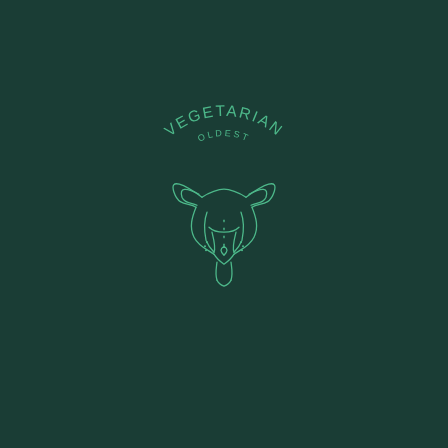[Figure (logo): Oldest Vegetarian logo: arched text 'OLDEST' above larger arched text 'VEGETARIAN', below which is a minimalist line-art illustration of a cat/panther face viewed from below, all rendered in mint/teal green on dark green background.]